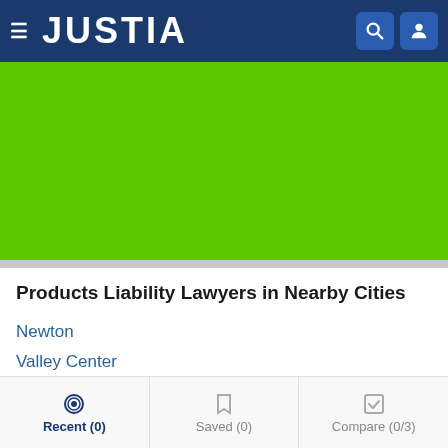JUSTIA
[Figure (other): Green advertisement banner placeholder]
Products Liability Lawyers in Nearby Cities
Newton
Valley Center
Wichita
El Dorado
Augusta
Recent (0)  Saved (0)  Compare (0/3)